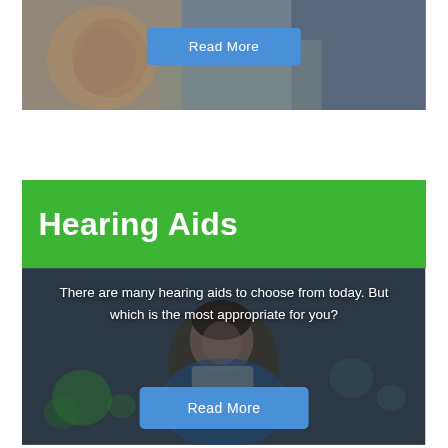[Figure (photo): Top section showing a close-up of a human ear with a blurred background, partially visible]
Read More
[Figure (photo): Bottom card section showing a smiling man outdoors with bokeh city lights background]
Hearing Aids
There are many hearing aids to choose from today.  But which is the most appropriate for you?
Read More